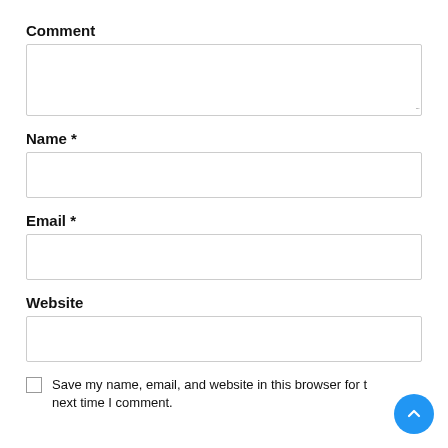Comment
[Figure (screenshot): Empty textarea input box for Comment field]
Name *
[Figure (screenshot): Empty text input box for Name field]
Email *
[Figure (screenshot): Empty text input box for Email field]
Website
[Figure (screenshot): Empty text input box for Website field]
Save my name, email, and website in this browser for the next time I comment.